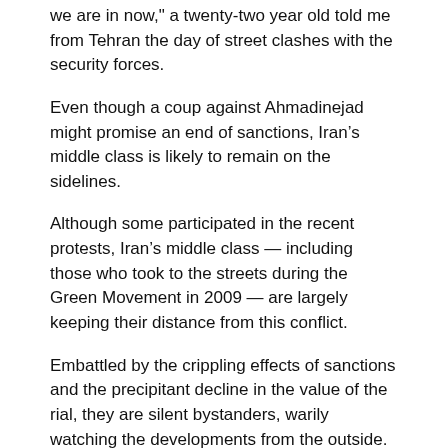we are in now," a twenty-two year old told me from Tehran the day of street clashes with the security forces.
Even though a coup against Ahmadinejad might promise an end of sanctions, Iran’s middle class is likely to remain on the sidelines.
Although some participated in the recent protests, Iran’s middle class — including those who took to the streets during the Green Movement in 2009 — are largely keeping their distance from this conflict.
Embattled by the crippling effects of sanctions and the precipitant decline in the value of the rial, they are silent bystanders, warily watching the developments from the outside. This is not their fight.
Even though a coup against Ahmadinejad might promise an end of sanctions and a return to economic stability, they will likely remain on the sidelines. If that remains to be the case, an Iranian Spring — with a prospect for real